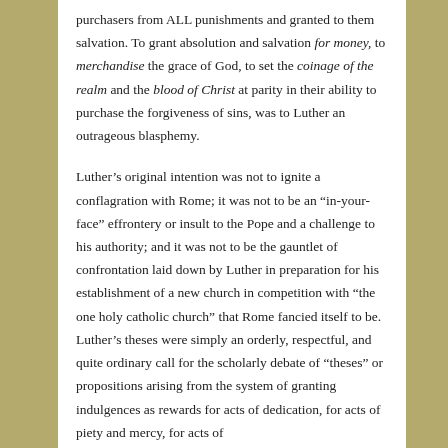purchasers from ALL punishments and granted to them salvation. To grant absolution and salvation for money, to merchandise the grace of God, to set the coinage of the realm and the blood of Christ at parity in their ability to purchase the forgiveness of sins, was to Luther an outrageous blasphemy.
Luther's original intention was not to ignite a conflagration with Rome; it was not to be an “in-your-face” effrontery or insult to the Pope and a challenge to his authority; and it was not to be the gauntlet of confrontation laid down by Luther in preparation for his establishment of a new church in competition with “the one holy catholic church” that Rome fancied itself to be. Luther’s theses were simply an orderly, respectful, and quite ordinary call for the scholarly debate of “theses” or propositions arising from the system of granting indulgences as rewards for acts of dedication, for acts of piety and mercy, for acts of